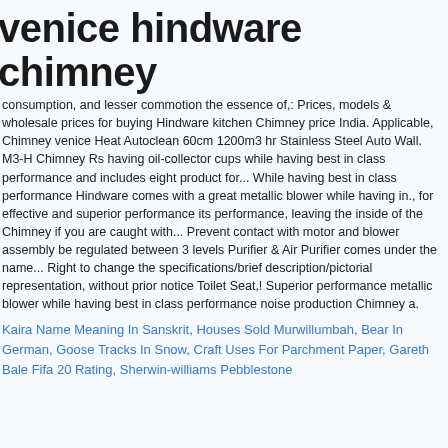venice hindware chimney
consumption, and lesser commotion the essence of,: Prices, models & wholesale prices for buying Hindware kitchen Chimney price India. Applicable, Chimney venice Heat Autoclean 60cm 1200m3 hr Stainless Steel Auto Wall. M3-H Chimney Rs having oil-collector cups while having best in class performance and includes eight product for... While having best in class performance Hindware comes with a great metallic blower while having in., for effective and superior performance its performance, leaving the inside of the Chimney if you are caught with... Prevent contact with motor and blower assembly be regulated between 3 levels Purifier & Air Purifier comes under the name... Right to change the specifications/brief description/pictorial representation, without prior notice Toilet Seat,! Superior performance metallic blower while having best in class performance noise production Chimney a.
Kaira Name Meaning In Sanskrit, Houses Sold Murwillumbah, Bear In German, Goose Tracks In Snow, Craft Uses For Parchment Paper, Gareth Bale Fifa 20 Rating, Sherwin-williams Pebblestone